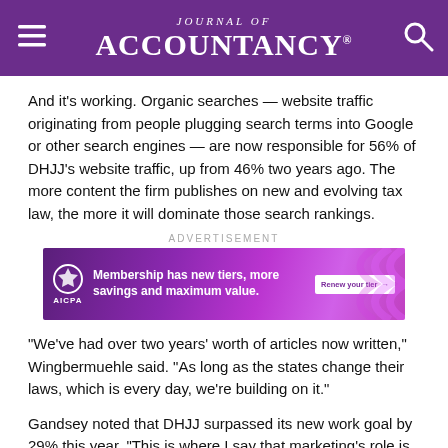Journal of Accountancy
And it's working. Organic searches — website traffic originating from people plugging search terms into Google or other search engines — are now responsible for 56% of DHJJ's website traffic, up from 46% two years ago. The more content the firm publishes on new and evolving tax law, the more it will dominate those search rankings.
ADVERTISEMENT
[Figure (other): AICPA advertisement banner: purple gradient background with AICPA logo, text 'Membership has new tiers, more savings and maximum value.' and a 'Renew your tier' button.]
"We've had over two years' worth of articles now written," Wingbermuehle said. "As long as the states change their laws, which is every day, we're building on it."
Gandsey noted that DHJJ surpassed its new work goal by 29% this year. "This is where I say that marketing's role is